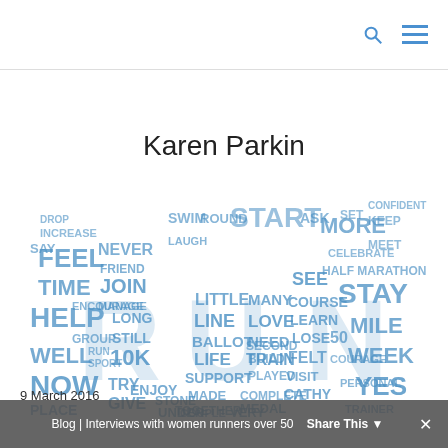Search and menu icons
Karen Parkin
[Figure (infographic): A word cloud/typography art shaped with the words RUN in large blue letters, surrounded by running-related words such as START, MORE, STAY, HELP, TIME, FEEL, JOIN, MANAGE, WELL, NOW, GIVE, TRY, ENJOY, PLACE, 10K, LONG, STILL, LITTLE, LINE, BALLOT, LIFE, SUPPORT, MANY, LOVE, NEED, TRAIN, MEDAL, COMPLETE, HALF MARATHON, LEARN, MILE, WEEK, YES, CATHY, FELT, VISIT, SEE, COURSE, LOSE, STONE, COUPLE, VERY, MADE, TOGETHER, BUILD, etc. in blue tones on a white background.]
9 March 2016
Blog | Interviews with women runners over 50   Share This   ✕